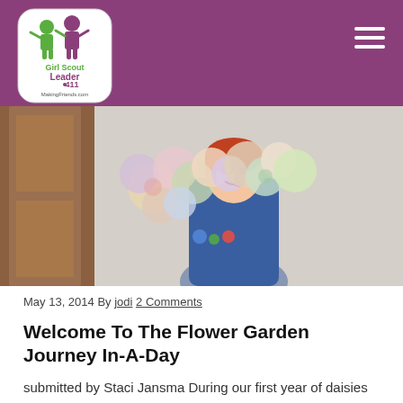Girl Scout Leader 411 – MakingFriends.com
[Figure (photo): A young girl in a Girl Scout Daisy uniform holding a large collection of circular flower-shaped paper craft items, smiling at the camera.]
May 13, 2014 By jodi 2 Comments
Welcome To The Flower Garden Journey In-A-Day
submitted by Staci Jansma During our first year of daisies we began working through 2 petals lessons and one chapter of the